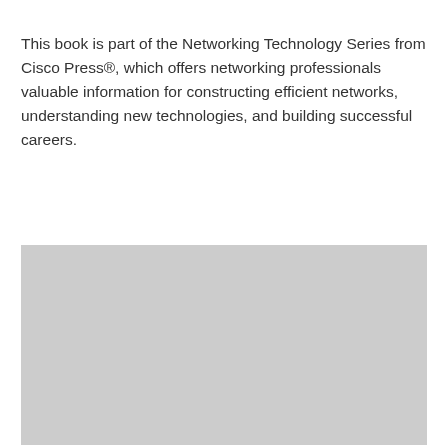This book is part of the Networking Technology Series from Cisco Press®, which offers networking professionals valuable information for constructing efficient networks, understanding new technologies, and building successful careers.
[Figure (other): A large gray rectangle placeholder image occupying the lower portion of the page.]